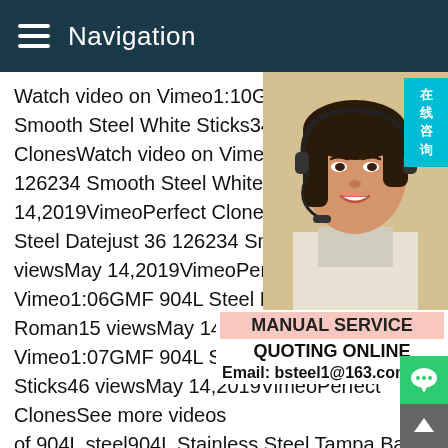Navigation
Watch video on Vimeo1:10GMF 904L Steel Smooth Steel White Sticks34 viewsMay 14,2019VimeoPerfect ClonesWatch video on Vimeo1:07GMF 904L Steel Datejust 36 126234 Smooth Steel White Roman22 viewsMay 14,2019VimeoPerfect ClonesWatch video on Vimeo1:07GMF 904L Steel Datejust 36 126234 Smooth Steel M viewsMay 14,2019VimeoPerfect ClonesWatch video on Vimeo1:06GMF 904L Steel Datejust 36 126234 Smooth Steel White Roman15 viewsMay 14,2019VimeoPerfect ClonesWatch video on Vimeo1:07GMF 904L Steel Datejust 36 126 Smooth Steel White Sticks46 viewsMay 14,2019VimeoPerfect ClonesSee more videos of 904L steel904L Stainless Steel Tampa Bay SteelGrade 904L stainless steel is one of many stainless steel grades that can be purchased at Tampa Bay Steel.The L in 904L stands for Low Carbon,specifically,that carbon added to the alloy represents.0 percent or less.This means that 904L has very good welding
[Figure (photo): A smiling woman wearing a headset (customer service representative) on a light background]
在线咨询
MANUAL SERVICE
QUOTING ONLINE
Email: bsteel1@163.com